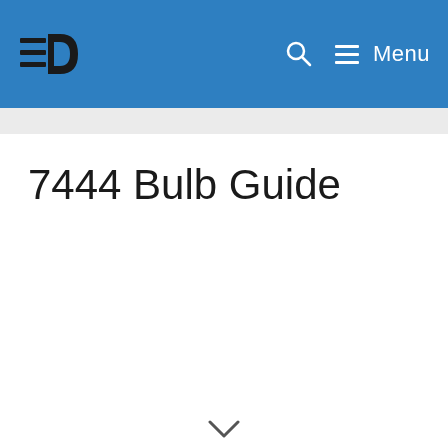7444 Bulb Guide — site navigation bar with logo, search, and menu
7444 Bulb Guide